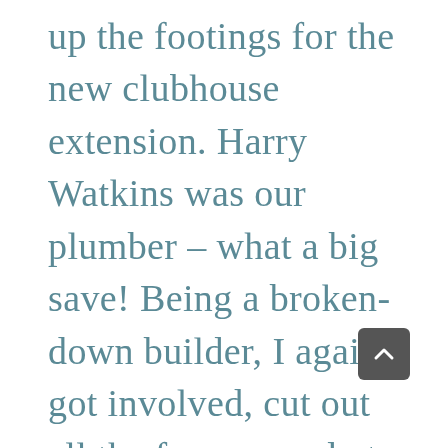up the footings for the new clubhouse extension. Harry Watkins was our plumber – what a big save! Being a broken-down builder, I again got involved, cut out all the frames ready to be put together.

“During the next few days,